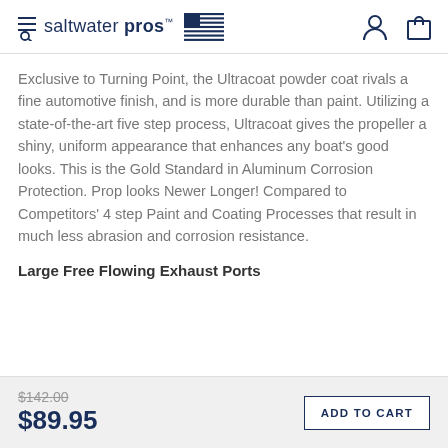saltwater pros
Exclusive to Turning Point, the Ultracoat powder coat rivals a fine automotive finish, and is more durable than paint. Utilizing a state-of-the-art five step process, Ultracoat gives the propeller a shiny, uniform appearance that enhances any boat's good looks. This is the Gold Standard in Aluminum Corrosion Protection. Prop looks Newer Longer! Compared to Competitors' 4 step Paint and Coating Processes that result in much less abrasion and corrosion resistance.
Large Free Flowing Exhaust Ports
$142.00  $89.95  ADD TO CART